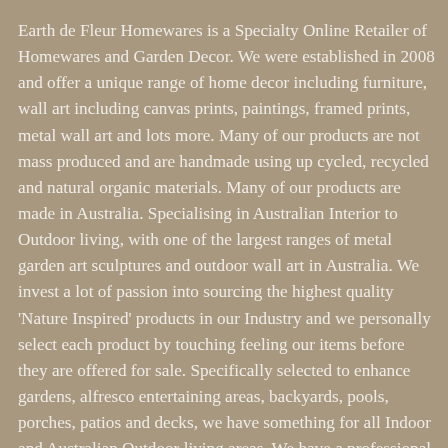Earth de Fleur Homewares is a Specialty Online Retailer of Homewares and Garden Decor. We were established in 2008 and offer a unique range of home decor including furniture, wall art including canvas prints, paintings, framed prints, metal wall art and lots more. Many of our products are not mass produced and are handmade using up cycled, recycled and natural organic materials. Many of our products are made in Australia. Specialising in Australian Interior to Outdoor living, with one of the largest ranges of metal garden art sculptures and outdoor wall art in Australia. We invest a lot of passion into sourcing the highest quality 'Nature Inspired' products in our Industry and we personally select each product by touching feeling our items before they are offered for sale. Specifically selected to enhance gardens, alfresco entertaining areas, backyards, pools, porches, patios and decks, we have something for all Indoor and Australian Outdoor living areas. We have a professional approach to building quality relationships with our suppliers and exceptional attention to detail. We are committed to to delivering quality products to our customers. We were established in 2008 and strive to provide exceptional customer service